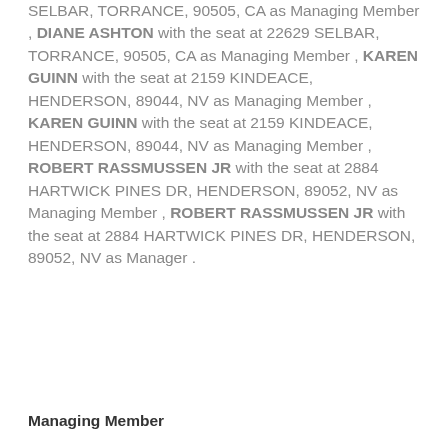SELBAR, TORRANCE, 90505, CA as Managing Member , DIANE ASHTON with the seat at 22629 SELBAR, TORRANCE, 90505, CA as Managing Member , KAREN GUINN with the seat at 2159 KINDEACE, HENDERSON, 89044, NV as Managing Member , KAREN GUINN with the seat at 2159 KINDEACE, HENDERSON, 89044, NV as Managing Member , ROBERT RASSMUSSEN JR with the seat at 2884 HARTWICK PINES DR, HENDERSON, 89052, NV as Managing Member , ROBERT RASSMUSSEN JR with the seat at 2884 HARTWICK PINES DR, HENDERSON, 89052, NV as Manager .
Managing Member